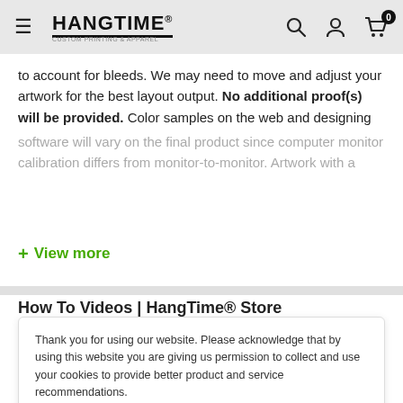HangTime® — Navigation header with menu, logo, search, account, and cart icons
to account for bleeds. We may need to move and adjust your artwork for the best layout output. No additional proof(s) will be provided. Color samples on the web and designing software will vary on the final product since computer monitor calibration differs from monitor-to-monitor. Artwork with a
+ View more
How To Videos | HangTime® Store
Thank you for using our website. Please acknowledge that by using this website you are giving us permission to collect and use your cookies to provide better product and service recommendations.
Accept